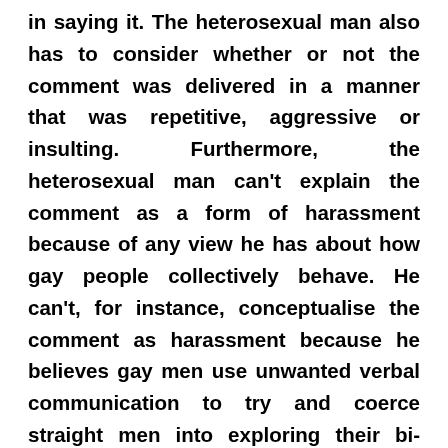in saying it. The heterosexual man also has to consider whether or not the comment was delivered in a manner that was repetitive, aggressive or insulting. Furthermore, the heterosexual man can't explain the comment as a form of harassment because of any view he has about how gay people collectively behave. He can't, for instance, conceptualise the comment as harassment because he believes gay men use unwanted verbal communication to try and coerce straight men into exploring their bi-curious side. He most definitely can't explain the comment as harassment because he believes any gay man who can physically overtake him is a potential rapist.